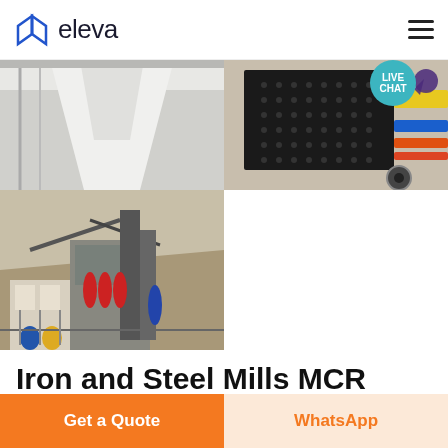eleva
[Figure (photo): Industrial machinery photos: top-left shows a white hopper/chute structure, top-right shows a black panel/screen with colorful conveyor belts, bottom shows a multi-level industrial crushing/screening plant on a hillside]
Iron and Steel Mills MCR Safety
Get a Quote
WhatsApp